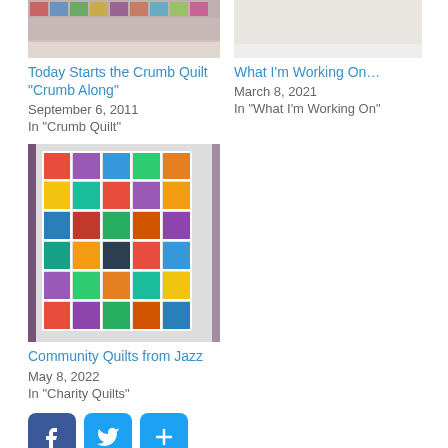[Figure (photo): Crumb quilt photo, top of page, left column]
Today Starts the Crumb Quilt “Crumb Along”
September 6, 2011
In "Crumb Quilt"
[Figure (photo): What I'm Working On photo, top right column (blank/light)]
What I’m Working On…
March 8, 2021
In "What I'm Working On"
[Figure (photo): Community quilts photo — colorful patchwork quilt hanging]
Community Quilts from Jazz
May 8, 2022
In "Charity Quilts"
[Figure (infographic): Social sharing icons: Facebook, Twitter, More (+)]
This entry was posted in Uncategorized on January 3, 2015 by Jo.